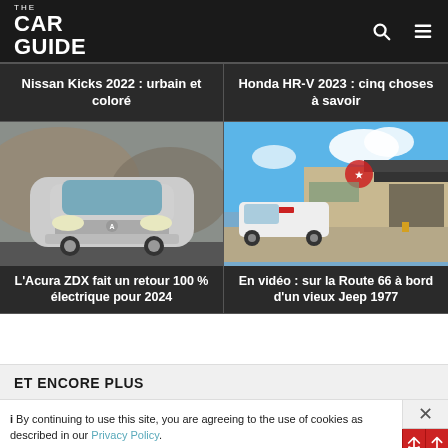THE CAR GUIDE
Nissan Kicks 2022 : urbain et coloré
Honda HR-V 2023 : cinq choses à savoir
[Figure (photo): Acura ZDX silver SUV front view on road]
L'Acura ZDX fait un retour 100 % électrique pour 2024
[Figure (photo): Old Jeep at Route 66 Texaco gas station]
En vidéo : sur la Route 66 à bord d'un vieux Jeep 1977
ET ENCORE PLUS
i By continuing to use this site, you are agreeing to the use of cookies as described in our Privacy Policy.